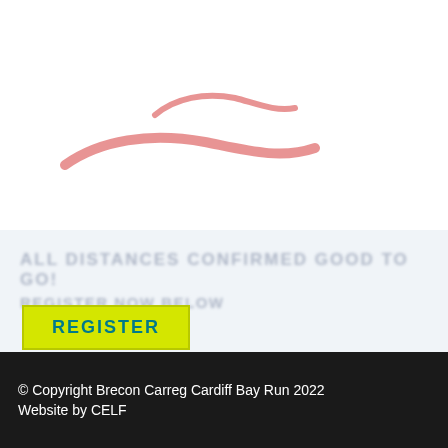[Figure (logo): Brecon Carreg Cardiff Bay Run logo with two wavy salmon/pink lines representing hills or water]
REGISTER
© Copyright Brecon Carreg Cardiff Bay Run 2022
Website by CELF